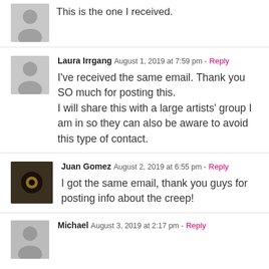This is the one I received.
Laura Irrgang  August 1, 2019 at 7:59 pm -  Reply
I've received the same email. Thank you SO much for posting this. I will share this with a large artists' group I am in so they can also be aware to avoid this type of contact.
Juan Gomez  August 2, 2019 at 6:55 pm -  Reply
I got the same email, thank you guys for posting info about the creep!
Michael  August 3, 2019 at 2:17 pm -  Reply